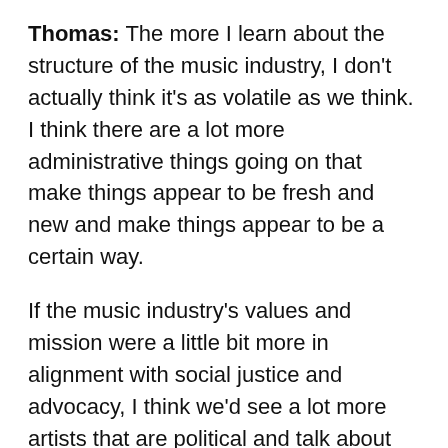Thomas: The more I learn about the structure of the music industry, I don't actually think it's as volatile as we think. I think there are a lot more administrative things going on that make things appear to be fresh and new and make things appear to be a certain way.
If the music industry's values and mission were a little bit more in alignment with social justice and advocacy, I think we'd see a lot more artists that are political and talk about real things. They're [the music industry] designing it to play certain people front and center. That's why we don't see [rapper] Little Simz winning. She's absolutely incredible… We're not seeing these incredible queer, non-male musicians winning everything, because the industry is not really